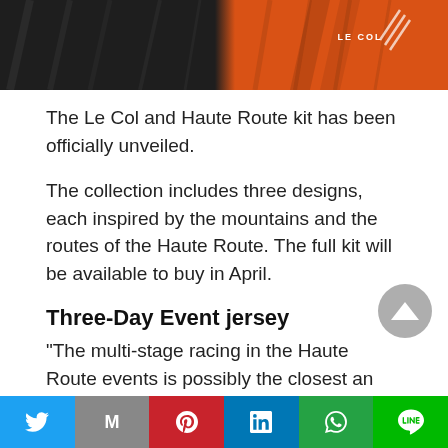[Figure (photo): Hero image showing Le Col and Haute Route cycling kit — dark/black fabric on the left half and orange cycling jersey with Le Col branding on the right half]
The Le Col and Haute Route kit has been officially unveiled.
The collection includes three designs, each inspired by the mountains and the routes of the Haute Route. The full kit will be available to buy in April.
Three-Day Event jersey
“The multi-stage racing in the Haute Route events is possibly the closest an amateur rider can get to the pro peloton. The new Three-Day jersey is
Share buttons: Twitter, Mail, Pinterest, LinkedIn, WhatsApp, Line